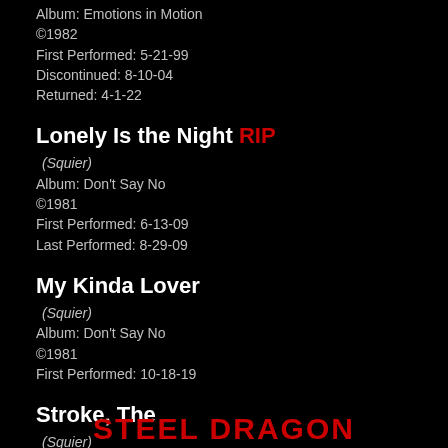Album: Emotions in Motion
©1982
First Performed: 5-21-99
Discontinued: 8-10-04
Returned: 4-1-22
Lonely Is the Night RIP
(Squier)
Album: Don't Say No
©1981
First Performed: 6-13-09
Last Performed: 8-29-09
My Kinda Lover
(Squier)
Album: Don't Say No
©1981
First Performed: 10-18-19
Stroke, The
(Squier)
Album: Don't Say No
©1981
First Performed: 8-24-01
Discontinued: 8-9-02
Returned: 5-25-13
STEEL DRAGON